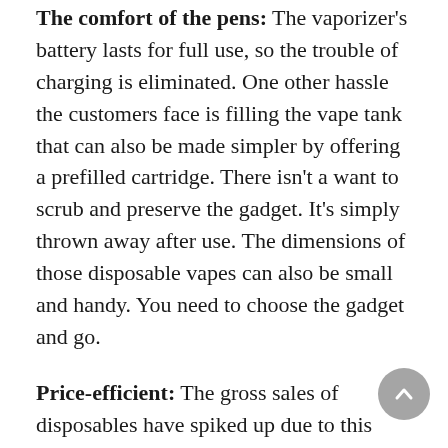The comfort of the pens: The vaporizer's battery lasts for full use, so the trouble of charging is eliminated. One other hassle the customers face is filling the vape tank that can also be made simpler by offering a prefilled cartridge. There isn't a want to scrub and preserve the gadget. It's simply thrown away after use. The dimensions of those disposable vapes can also be small and handy. You need to choose the gadget and go.
Price-efficient: The gross sales of disposables have spiked up due to this foremost purpose. The value is nearly inexpensive for any individual. Even for an impulsive purchaser, it's cost-efficient and a good selection. This does not compromise with the standard, although. So, the customers